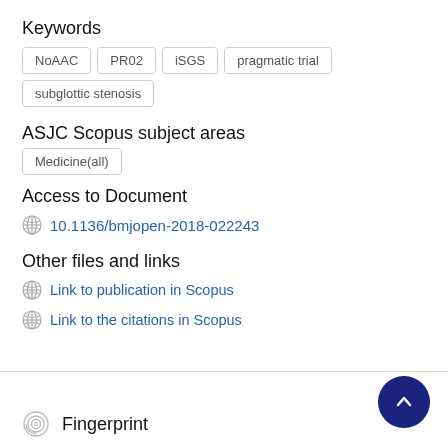Keywords
NoAAC
PR02
iSGS
pragmatic trial
subglottic stenosis
ASJC Scopus subject areas
Medicine(all)
Access to Document
10.1136/bmjopen-2018-022243
Other files and links
Link to publication in Scopus
Link to the citations in Scopus
Fingerprint